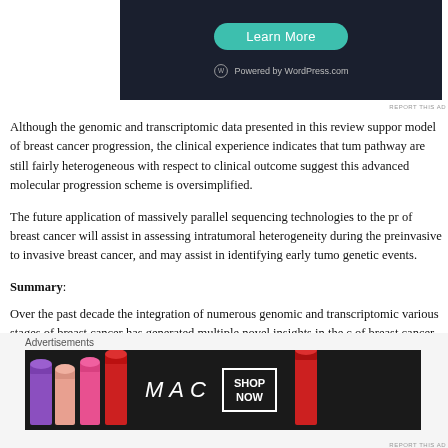[Figure (other): WordPress.com advertisement banner with 'Learn More' teal button and WordPress logo]
Although the genomic and transcriptomic data presented in this review support a model of breast cancer progression, the clinical experience indicates that tumors on this pathway are still fairly heterogeneous with respect to clinical outcome suggesting that this advanced molecular progression scheme is oversimplified.
The future application of massively parallel sequencing technologies to the progression of breast cancer will assist in assessing intratumoral heterogeneity during the transition from preinvasive to invasive breast cancer, and may assist in identifying early tumor initiating genetic events.
Summary:
Over the past decade the integration of numerous genomic and transcriptomic studies of various stages of breast cancer has generated multiple novel insights in the characterization of breast cancer progression.
[Figure (other): M·A·C cosmetics advertisement showing lipsticks with 'SHOP NOW' button]